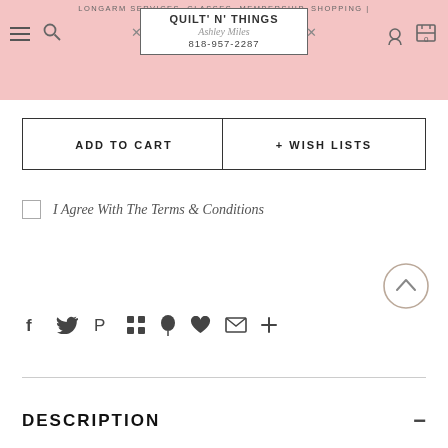QUILT' N' THINGS | LONGARM SERVICES, CLASSES, MEMBERSHIP, SHOPPING | Ashley Miles | 818-957-2287
ADD TO CART
+ WISH LISTS
I Agree With The Terms & Conditions
[Figure (other): Back to top arrow button (circle with upward chevron)]
[Figure (other): Social share icons row: Facebook, Twitter, Pinterest, Google+, Fancy, Fancy heart, Email, More]
DESCRIPTION